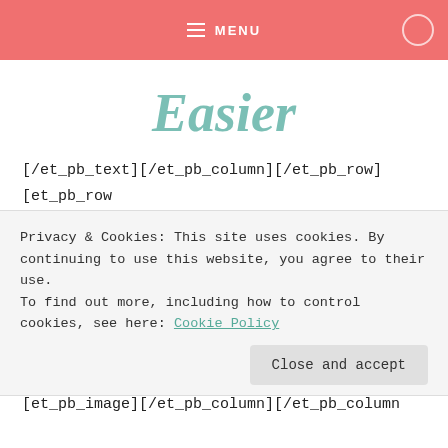MENU
Easier
[/et_pb_text][/et_pb_column][/et_pb_row][et_pb_row _builder_version="3.0.76"][et_pb_column type="1_4" _builder_version="3.0.76" parallax="off" parallax_method="on"][et_pb_image src="https://apurposedrivenmom.com/wp-content/uploads/2018/08/Screen-Shot-2018-08-09-
Privacy & Cookies: This site uses cookies. By continuing to use this website, you agree to their use.
To find out more, including how to control cookies, see here: Cookie Policy
[et_pb_image][/et_pb_column][/et_pb_column